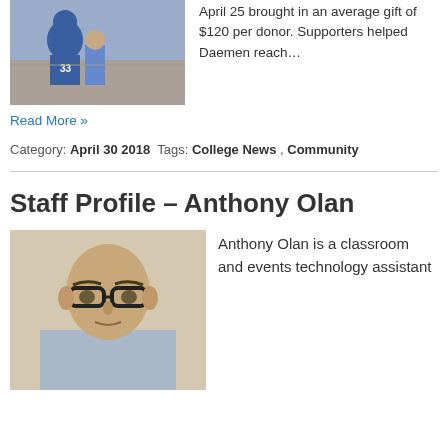[Figure (photo): Photo of blue mascot costume at an outdoor event]
April 25 brought in an average gift of $120 per donor. Supporters helped Daemen reach… Read More »
Category: April 30 2018  Tags: College News , Community
Staff Profile – Anthony Olan
[Figure (photo): Headshot photo of Anthony Olan wearing glasses and a light blue shirt]
Anthony Olan is a classroom and events technology assistant